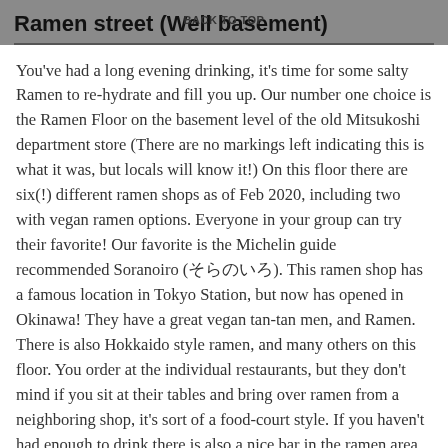Ramen street (Well basement)
You've had a long evening drinking, it's time for some salty Ramen to re-hydrate and fill you up. Our number one choice is the Ramen Floor on the basement level of the old Mitsukoshi department store (There are no markings left indicating this is what it was, but locals will know it!) On this floor there are six(!) different ramen shops as of Feb 2020, including two with vegan ramen options. Everyone in your group can try their favorite! Our favorite is the Michelin guide recommended Soranoiro (そらのいろ). This ramen shop has a famous location in Tokyo Station, but now has opened in Okinawa! They have a great vegan tan-tan men, and Ramen. There is also Hokkaido style ramen, and many others on this floor. You order at the individual restaurants, but they don't mind if you sit at their tables and bring over ramen from a neighboring shop, it's sort of a food-court style. If you haven't had enough to drink there is also a nice bar in the ramen area that serves many